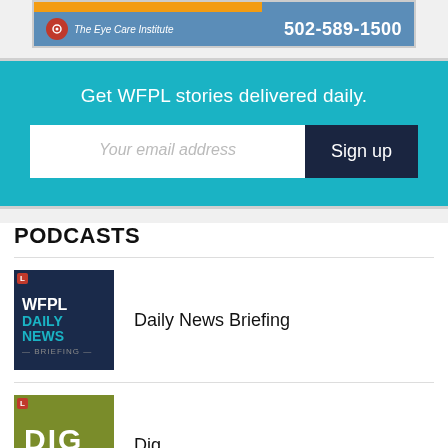[Figure (other): Eye Care Institute advertisement banner showing phone number 502-589-1500 on a blue background]
Get WFPL stories delivered daily.
Your email address
Sign up
PODCASTS
Daily News Briefing
[Figure (other): WFPL Daily News Briefing podcast thumbnail - dark blue background with WFPL DAILY NEWS BRIEFING text]
Dig
[Figure (other): Dig podcast thumbnail - olive green background with DIG text]